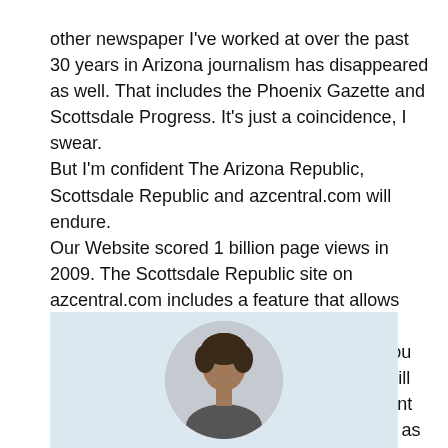other newspaper I've worked at over the past 30 years in Arizona journalism has disappeared as well. That includes the Phoenix Gazette and Scottsdale Progress. It's just a coincidence, I swear.
But I'm confident The Arizona Republic, Scottsdale Republic and azcentral.com will endure.
Our Website scored 1 billion page views in 2009. The Scottsdale Republic site on azcentral.com includes a feature that allows anyone to submit and publish news and community events. Look for the News By You button and click on that to submit an item. Fill out the template for a Business or Restaurant Spotlight or Community Events. It's as easy as that.
Thanks to Peter for being our #MediaMonday. If you are a member of the media or know a member of the media who wants to share a little something too, just click here and tell us all about it.
[Figure (photo): A circular portrait photo of a person (visible from shoulders up) against a light blue/grey background.]